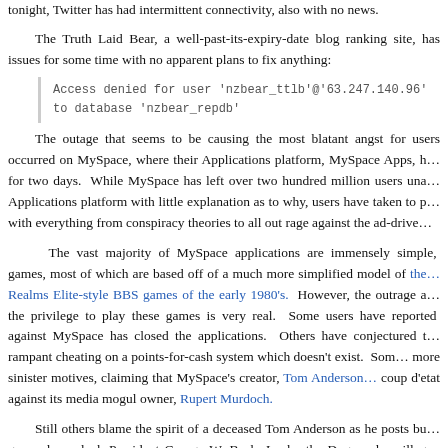tonight, Twitter has had intermittent connectivity, also with no news.
The Truth Laid Bear, a well-past-its-expiry-date blog ranking site, has issues for some time with no apparent plans to fix anything:
The outage that seems to be causing the most blatant angst for users occurred on MySpace, where their Applications platform, MySpace Apps, has been down for two days. While MySpace has left over two hundred million users unable to use its Applications platform with little explanation as to why, users have taken to posting with everything from conspiracy theories to all out rage against the ad-driven...
The vast majority of MySpace applications are immensely simple, games, most of which are based off of a much more simplified model of the Realms Elite-style BBS games of the early 1980's. However, the outrage at losing the privilege to play these games is very real. Some users have reported that anger against MySpace has closed the applications. Others have conjectured that there is rampant cheating on a points-for-cash system which doesn't exist. Some point to more sinister motives, claiming that MySpace's creator, Tom Anderson, staged a coup d'etat against its media mogul owner, Rupert Murdoch.
Still others blame the spirit of a deceased Tom Anderson as he posts bu... grave, lame-duck President George W. Bush, Lucky the Dog, and an illeg... Urinous Hatte, who claims to be from an extra-solar planet in the vicinity of B...
I would like to address these particular MySpace users directly: